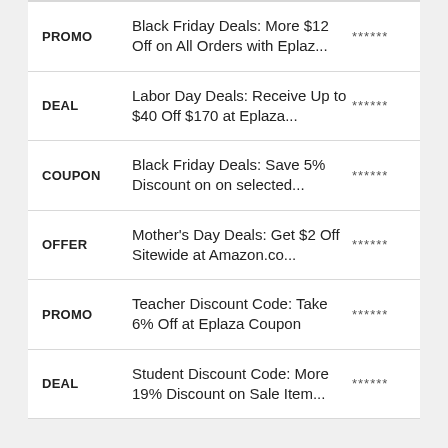| Type | Description | Rating |
| --- | --- | --- |
| PROMO | Black Friday Deals: More $12 Off on All Orders with Eplaz... | ****** |
| DEAL | Labor Day Deals: Receive Up to $40 Off $170 at Eplaza... | ****** |
| COUPON | Black Friday Deals: Save 5% Discount on on selected... | ****** |
| OFFER | Mother's Day Deals: Get $2 Off Sitewide at Amazon.co... | ****** |
| PROMO | Teacher Discount Code: Take 6% Off at Eplaza Coupon | ****** |
| DEAL | Student Discount Code: More 19% Discount on Sale Item... | ****** |